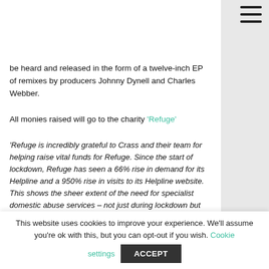be heard and released in the form of a twelve-inch EP of remixes by producers Johnny Dynell and Charles Webber.
All monies raised will go to the charity 'Refuge'
'Refuge is incredibly grateful to Crass and their team for helping raise vital funds for Refuge. Since the start of lockdown, Refuge has seen a 66% rise in demand for its Helpline and a 950% rise in visits to its Helpline website. This shows the sheer extent of the need for specialist domestic abuse services – not just during lockdown but beyond. Every penny raised helps us to ensure that no woman or child is turned away from safety.
'While lockdown itself doesn't cause domestic abuse – abuse happens all year round – it does of course have
This website uses cookies to improve your experience. We'll assume you're ok with this, but you can opt-out if you wish. Cookie settings ACCEPT